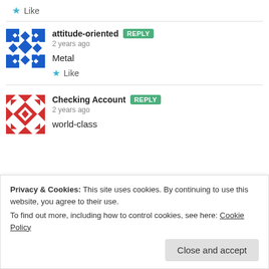★ Like
attitude-oriented  REPLY
2 years ago
Metal
★ Like
Checking Account  REPLY
2 years ago
world-class
Privacy & Cookies: This site uses cookies. By continuing to use this website, you agree to their use.
To find out more, including how to control cookies, see here: Cookie Policy
Close and accept